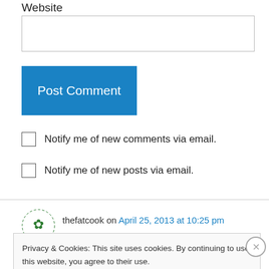Website
[Figure (screenshot): Empty text input box for Website field]
[Figure (screenshot): Blue Post Comment button]
Notify me of new comments via email.
Notify me of new posts via email.
thefatcook on April 25, 2013 at 10:25 pm
Privacy & Cookies: This site uses cookies. By continuing to use this website, you agree to their use.
To find out more, including how to control cookies, see here: Cookie Policy
Close and accept